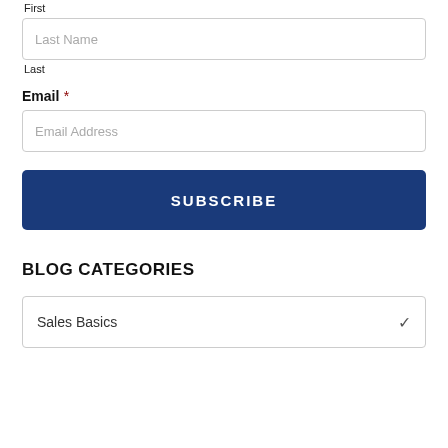First
Last Name
Last
Email *
Email Address
SUBSCRIBE
BLOG CATEGORIES
Sales Basics